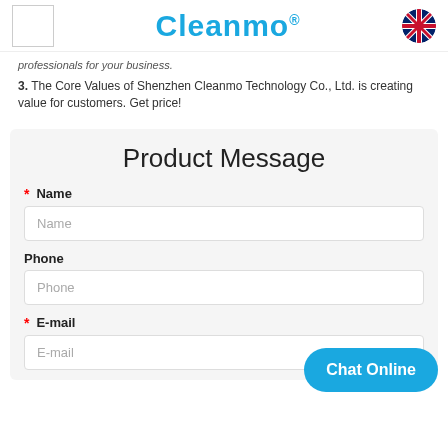Cleanmo®
professionals for your business.
3. The Core Values of Shenzhen Cleanmo Technology Co., Ltd. is creating value for customers. Get price!
Product Message
* Name
* E-mail
Phone